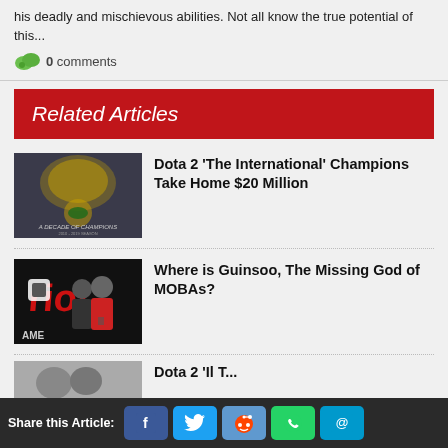his deadly and mischievous abilities. Not all know the true potential of this...
0 comments
Related Articles
[Figure (photo): Dota 2 The International promotional image with golden characters and logo]
Dota 2 'The International' Champions Take Home $20 Million
[Figure (photo): People standing in front of a Riot Games logo backdrop]
Where is Guinsoo, The Missing God of MOBAs?
[Figure (photo): Partial view of people, bottom article thumbnail]
Dota 2 'The...
Share this Article: Facebook Twitter Reddit WhatsApp Email